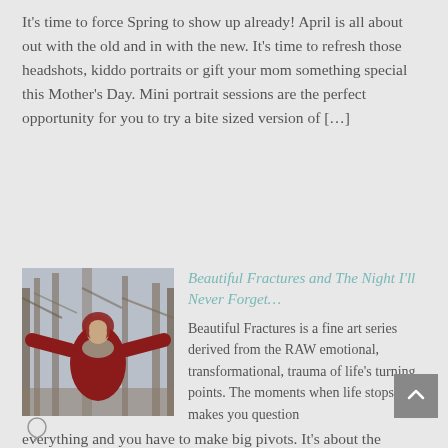It's time to force Spring to show up already! April is all about out with the old and in with the new. It's time to refresh those headshots, kiddo portraits or gift your mom something special this Mother's Day. Mini portrait sessions are the perfect opportunity for you to try a bite sized version of […]
[Figure (photo): A woman in a red coat with arms spread wide in a wintry forest with bare trees and gray sky]
Beautiful Fractures and The Night I'll Never Forget…
Beautiful Fractures is a fine art series derived from the RAW emotional, transformational, trauma of life's turning points. The moments when life stops you, makes you question everything and you have to make big pivots. It's about the growing pains of becoming the person you are supposed to be. To get to the other side […]